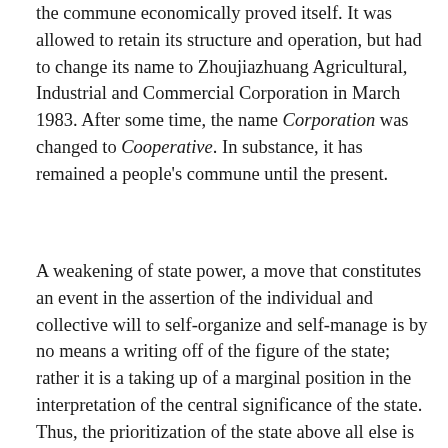the commune economically proved itself. It was allowed to retain its structure and operation, but had to change its name to Zhoujiazhuang Agricultural, Industrial and Commercial Corporation in March 1983. After some time, the name Corporation was changed to Cooperative. In substance, it has remained a people's commune until the present.
A weakening of state power, a move that constitutes an event in the assertion of the individual and collective will to self-organize and self-manage is by no means a writing off of the figure of the state; rather it is a taking up of a marginal position in the interpretation of the central significance of the state. Thus, the prioritization of the state above all else is recast in light of what the state relegates to the margins and yet cannot dismiss for its own fulfillment. Hence, the Zhoujiazhuang people's commune referred to state rhetoric—"the wish of the local people should be